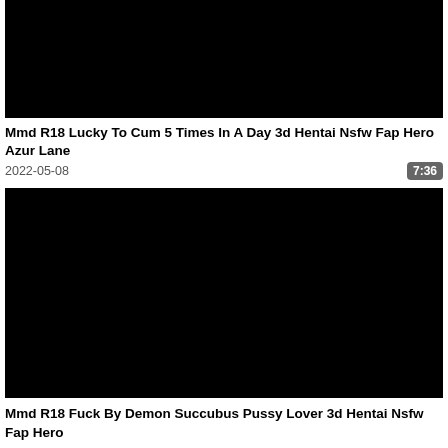[Figure (screenshot): Black video thumbnail for first video entry]
Mmd R18 Lucky To Cum 5 Times In A Day 3d Hentai Nsfw Fap Hero Azur Lane
2022-05-08
7:36
[Figure (screenshot): Black video thumbnail for second video entry]
Mmd R18 Fuck By Demon Succubus Pussy Lover 3d Hentai Nsfw Fap Hero